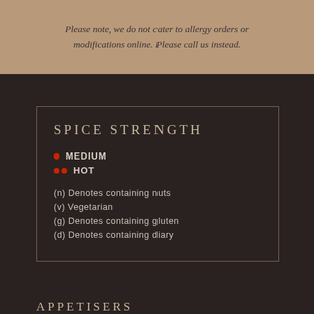Please note, we do not cater to allergy orders or modifications online. Please call us instead.
SPICE STRENGTH
• MEDIUM
•• HOT
(n) Denotes containing nuts
(v) Vegetarian
(g) Denotes containing gluten
(d) Denotes containing diary
APPETISERS